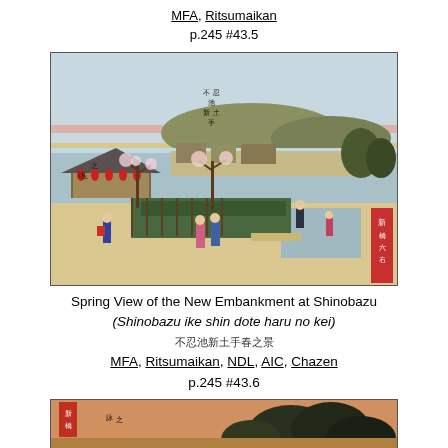MFA, Ritsumaikan
p.245 #43.5
[Figure (illustration): Japanese woodblock print showing Spring View of the New Embankment at Shinobazu. Scene depicts figures walking along a path, plum trees in bloom, a pavilion/teahouse on the left, and a lake/pond in the background with distant hills.]
Spring View of the New Embankment at Shinobazu
(Shinobazu ike shin dote haru no kei)
不忍池新土手春之景
MFA, Ritsumaikan, NDL, AIC, Chazen
p.245 #43.6
[Figure (illustration): Partial view of another Japanese woodblock print, showing the top portion with orange/reddish sky and dark trees, with a red cartouche in the upper left corner.]